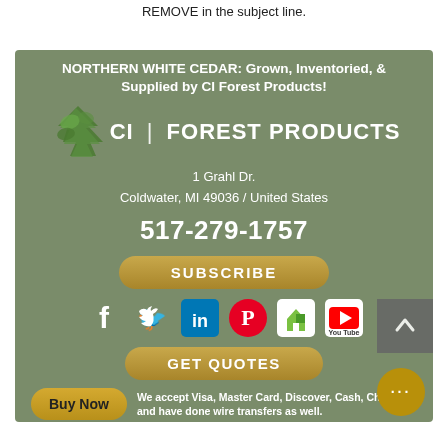REMOVE in the subject line.
[Figure (infographic): Green box with CI Forest Products company info, logo with tree icon, address, phone number, subscribe and get quotes buttons, social media icons, buy now button, payment info, privacy policy and terms of use links, copyright notice, and floating action button.]
NORTHERN WHITE CEDAR: Grown, Inventoried, & Supplied by CI Forest Products!
CI | FOREST PRODUCTS
1 Grahl Dr.
Coldwater, MI 49036 / United States
517-279-1757
SUBSCRIBE
GET QUOTES
Buy Now
We accept Visa, Master Card, Discover, Cash, Check, and have done wire transfers as well.
Privacy Policy
Terms of Use
© 2022 by CI Forest Products. Web Design by Design Build Media Group / R Thomas Consulting